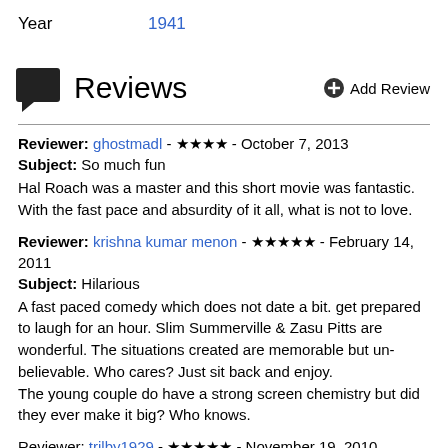Year   1941
Reviews
Reviewer: ghostmadl - ★★★★ - October 7, 2013
Subject: So much fun
Hal Roach was a master and this short movie was fantastic. With the fast pace and absurdity of it all, what is not to love.
Reviewer: krishna kumar menon - ★★★★★ - February 14, 2011
Subject: Hilarious
A fast paced comedy which does not date a bit. get prepared to laugh for an hour. Slim Summerville & Zasu Pitts are wonderful. The situations created are memorable but un-believable. Who cares? Just sit back and enjoy.
The young couple do have a strong screen chemistry but did they ever make it big? Who knows.
Reviewer: trilby1929 - ★★★★★ - November 19, 2010